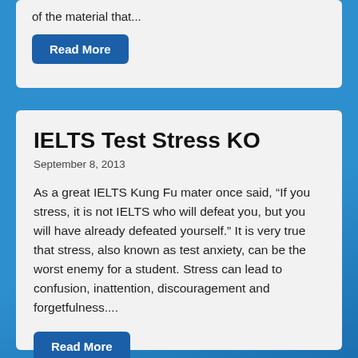of the material that...
Read More
IELTS Test Stress KO
September 8, 2013
As a great IELTS Kung Fu mater once said, “If you stress, it is not IELTS who will defeat you, but you will have already defeated yourself.” It is very true that stress, also known as test anxiety, can be the worst enemy for a student. Stress can lead to confusion, inattention, discouragement and forgetfulness....
Read More